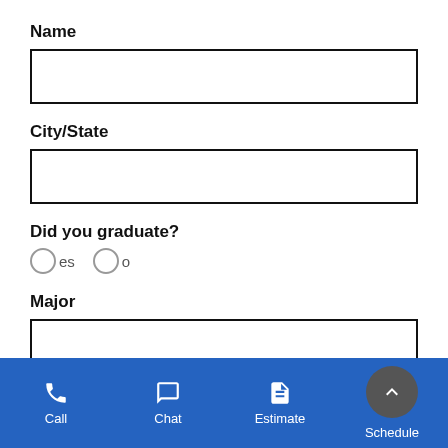Name
[Figure (other): Empty text input box for Name]
City/State
[Figure (other): Empty text input box for City/State]
Did you graduate?
[Figure (other): Radio buttons: Yes and No options]
Major
[Figure (other): Empty text input box for Major]
Call  Chat  Estimate  Schedule